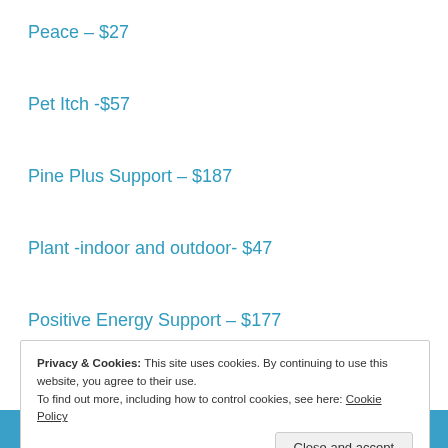Peace – $27
Pet Itch -$57
Pine Plus Support – $187
Plant -indoor and outdoor- $47
Positive Energy Support – $177
Positive Energy Support Pendant Large Amazonite, Fluorite and Lapis Stones – $97
Privacy & Cookies: This site uses cookies. By continuing to use this website, you agree to their use. To find out more, including how to control cookies, see here: Cookie Policy
Close and accept